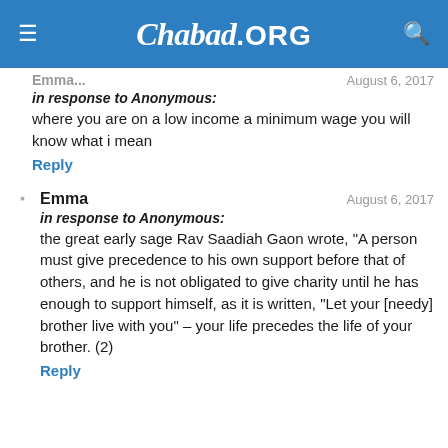Chabad.ORG
Emma ... August 6, 2017
in response to Anonymous:
where you are on a low income a minimum wage you will know what i mean
Reply
Emma  August 6, 2017
in response to Anonymous:
the great early sage Rav Saadiah Gaon wrote, "A person must give precedence to his own support before that of others, and he is not obligated to give charity until he has enough to support himself, as it is written, "Let your [needy] brother live with you" – your life precedes the life of your brother. (2)
Reply